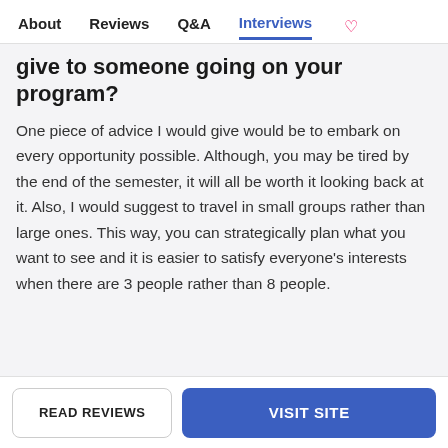About  Reviews  Q&A  Interviews  ♡
give to someone going on your program?
One piece of advice I would give would be to embark on every opportunity possible. Although, you may be tired by the end of the semester, it will all be worth it looking back at it. Also, I would suggest to travel in small groups rather than large ones. This way, you can strategically plan what you want to see and it is easier to satisfy everyone's interests when there are 3 people rather than 8 people.
READ REVIEWS
VISIT SITE